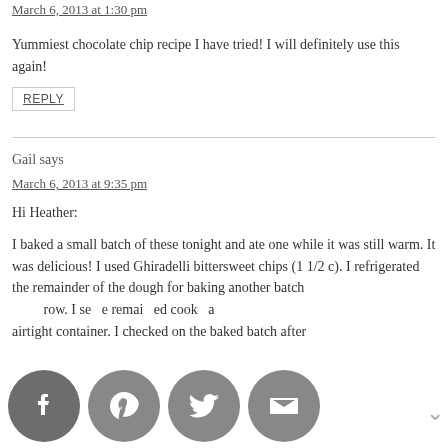March 6, 2013 at 1:30 pm
Yummiest chocolate chip recipe I have tried! I will definitely use this again!
REPLY
Gail says
March 6, 2013 at 9:35 pm
Hi Heather:
I baked a small batch of these tonight and ate one while it was still warm. It was delicious! I used Ghiradelli bittersweet chips (1 1/2 c). I refrigerated the remainder of the dough for baking another batch tomorrow. I stored the remaining baked cookies in an airtight container. I checked on the baked batch after